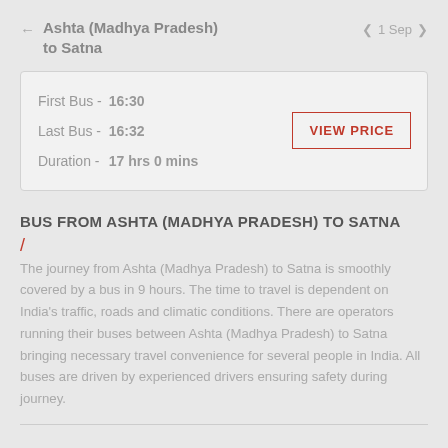Ashta (Madhya Pradesh) to Satna    ← | 1 Sep | < >
| First Bus - | 16:30 |
| Last Bus - | 16:32 |
| Duration - | 17 hrs 0 mins |
BUS FROM ASHTA (MADHYA PRADESH) TO SATNA
The journey from Ashta (Madhya Pradesh) to Satna is smoothly covered by a bus in 9 hours. The time to travel is dependent on India's traffic, roads and climatic conditions. There are operators running their buses between Ashta (Madhya Pradesh) to Satna bringing necessary travel convenience for several people in India. All buses are driven by experienced drivers ensuring safety during journey.